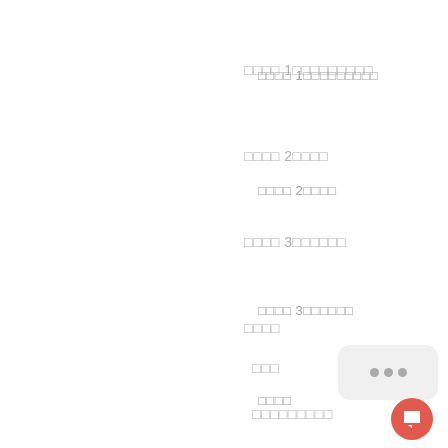□□□□ 1□□□□□□□□□
□□□□ 2□□□□
□□□□ 3□□□□□□
□□□□
□□□
□□□□□□□□□
□□□□
□□□□ 1□□□□